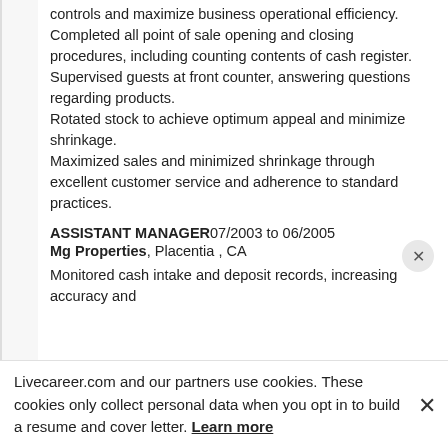controls and maximize business operational efficiency.
Completed all point of sale opening and closing procedures, including counting contents of cash register.
Supervised guests at front counter, answering questions regarding products.
Rotated stock to achieve optimum appeal and minimize shrinkage.
Maximized sales and minimized shrinkage through excellent customer service and adherence to standard practices.
ASSISTANT MANAGER 07/2003 to 06/2005
Mg Properties, Placentia , CA
Monitored cash intake and deposit records, increasing accuracy and
Livecareer.com and our partners use cookies. These cookies only collect personal data when you opt in to build a resume and cover letter. Learn more